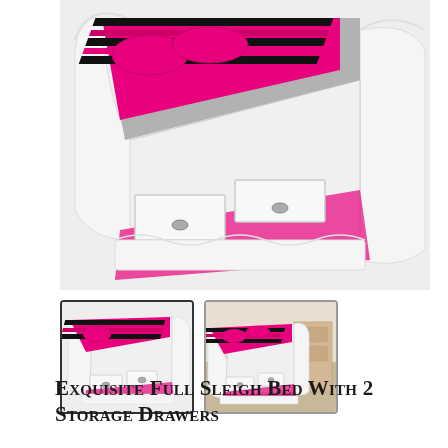[Figure (photo): Main product photo of a white full sleigh bed with 2 storage drawers underneath, dressed with pink and striped bedding, viewed from a side-front angle.]
[Figure (photo): Thumbnail 1: same white sleigh bed with storage drawers, pink bedding, front-side view, selected state (dark border).]
[Figure (photo): Thumbnail 2: white sleigh bed with pink bedding in a room setting, slightly different angle.]
Exquisite Full Sleigh Bed With 2 Storage Drawers